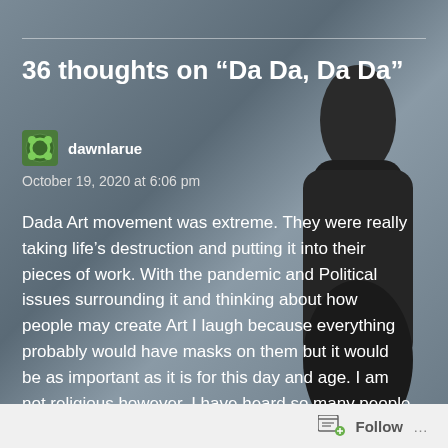36 thoughts on “Da Da, Da Da”
dawnlarue
October 19, 2020 at 6:06 pm
Dada Art movement was extreme. They were really taking life’s destruction and putting it into their pieces of work. With the pandemic and Political issues surrounding it and thinking about how people may create Art I laugh because everything probably would have masks on them but it would be as important as it is for this day and age. I am not religious however, I have heard so many people make the statement, “ God is coming” right as this pandemic began. I had interpreted as God is seeing so
Follow …